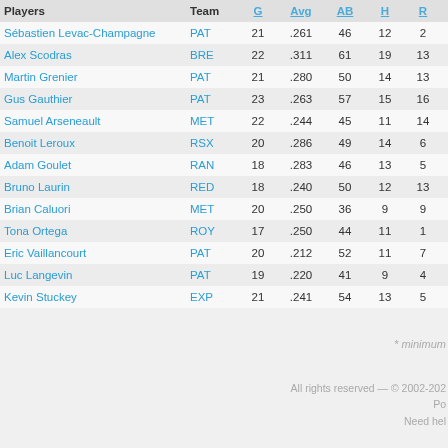| Players | Team | G | Avg | AB | H | R | RBI |
| --- | --- | --- | --- | --- | --- | --- | --- |
| Sébastien Levac-Champagne | PAT | 21 | .261 | 46 | 12 | 2 | 12 |
| Alex Scodras | BRE | 22 | .311 | 61 | 19 | 13 | 14 |
| Martin Grenier | PAT | 21 | .280 | 50 | 14 | 13 | 7 |
| Gus Gauthier | PAT | 23 | .263 | 57 | 15 | 16 | 9 |
| Samuel Arseneault | MET | 22 | .244 | 45 | 11 | 14 | 9 |
| Benoit Leroux | RSX | 20 | .286 | 49 | 14 | 6 | 7 |
| Adam Goulet | RAN | 18 | .283 | 46 | 13 | 5 | 7 |
| Bruno Laurin | RED | 18 | .240 | 50 | 12 | 13 | 6 |
| Brian Caluori | MET | 20 | .250 | 36 | 9 | 9 | 10 |
| Tona Ortega | ROY | 17 | .250 | 44 | 11 | 1 | 8 |
| Eric Vaillancourt | PAT | 20 | .212 | 52 | 11 | 7 | 2 |
| Luc Langevin | PAT | 19 | .220 | 41 | 9 | 4 | 4 |
| Kevin Stuckey | EXP | 21 | .241 | 54 | 13 | 5 | 4 |
* minimum
All rights reserved — © 2002-202
Po
Need hel